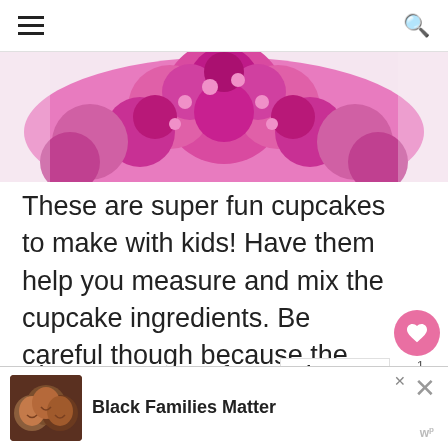[Figure (photo): Close-up of a pink fluffy cupcake with pink flower-like frosting decorations from above]
These are super fun cupcakes to make with kids! Have them help you measure and mix the cupcake ingredients. Be careful though because the cookies and hershey's kisses may go missing!
There are super fun and you will have a blast making them for any cupcake...
[Figure (infographic): Advertisement banner: Black Families Matter with photo of three smiling children]